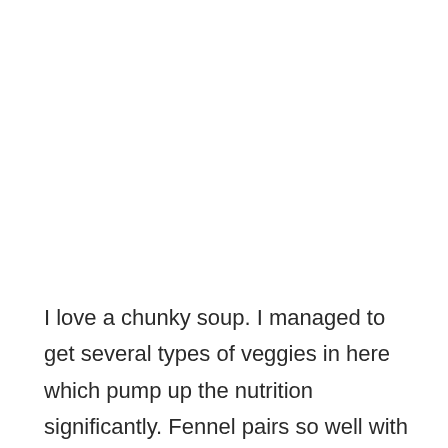I love a chunky soup. I managed to get several types of veggies in here which pump up the nutrition significantly. Fennel pairs so well with seafood. The cauliflower, a cruciferous vegetable, adds texture. You could even grate